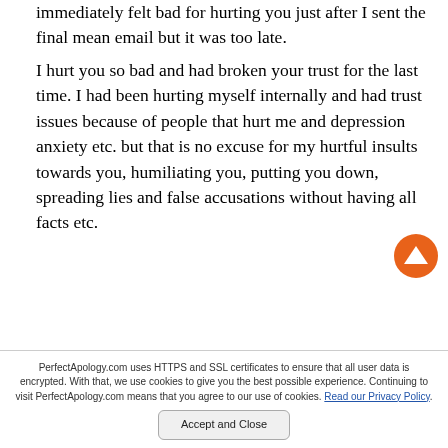immediately felt bad for hurting you just after I sent the final mean email but it was too late.
I hurt you so bad and had broken your trust for the last time. I had been hurting myself internally and had trust issues because of people that hurt me and depression anxiety etc. but that is no excuse for my hurtful insults towards you, humiliating you, putting you down, spreading lies and false accusations without having all facts etc.
PerfectApology.com uses HTTPS and SSL certificates to ensure that all user data is encrypted. With that, we use cookies to give you the best possible experience. Continuing to visit PerfectApology.com means that you agree to our use of cookies. Read our Privacy Policy. Accept and Close